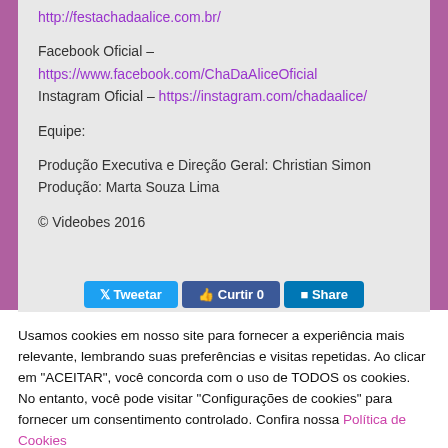http://festachadaalice.com.br/
Facebook Oficial – https://www.facebook.com/ChaDaAliceOficial
Instagram Oficial – https://instagram.com/chadaalice/
Equipe:
Produção Executiva e Direção Geral: Christian Simon
Produção: Marta Souza Lima
© Videobes 2016
[Figure (screenshot): Social sharing buttons: Tweetar (Twitter blue), Curtir 0 (Facebook blue), Share (LinkedIn blue)]
Usamos cookies em nosso site para fornecer a experiência mais relevante, lembrando suas preferências e visitas repetidas. Ao clicar em "ACEITAR", você concorda com o uso de TODOS os cookies. No entanto, você pode visitar "Configurações de cookies" para fornecer um consentimento controlado. Confira nossa Política de Cookies
Configurar Cookies   REJEITAR   ACEITAR